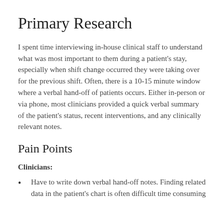Primary Research
I spent time interviewing in-house clinical staff to understand what was most important to them during a patient's stay, especially when shift change occurred they were taking over for the previous shift. Often, there is a 10-15 minute window where a verbal hand-off of patients occurs. Either in-person or via phone, most clinicians provided a quick verbal summary of the patient's status, recent interventions, and any clinically relevant notes.
Pain Points
Clinicians:
Have to write down verbal hand-off notes. Finding related data in the patient's chart is often difficult time consuming